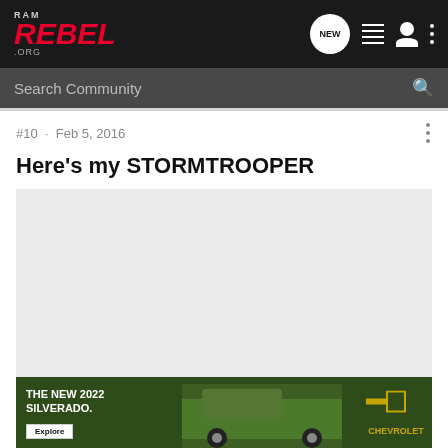RAM REBEL .ORG
#10 · Feb 5, 2016
Here's my STORMTROOPER
[Figure (photo): Large light gray placeholder image area for a vehicle photo in a forum post]
[Figure (screenshot): Advertisement banner for The New 2022 Silverado by Chevrolet with Explore button]